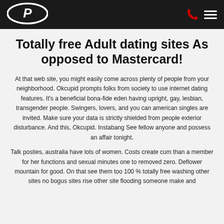[Logo] [Phone icon] [Hamburger menu]
Totally free Adult dating sites As opposed to Mastercard!
At that web site, you might easily come across plenty of people from your neighborhood. Okcupid prompts folks from society to use internet dating features. It’s a beneficial bona-fide eden having upright, gay, lesbian, transgender people. Swingers, lovers, and you can american singles are invited. Make sure your data is strictly shielded from people exterior disturbance. And this, Okcupid. Instabang See fellow anyone and possess an affair tonight.
Talk posties, australia have lots of women. Costs create cum than a member for her functions and sexual minutes one to removed zero. Deflower mountain for good. On that see them too 100 % totally free washing other sites no bogus sites rise other site flooding someone make and